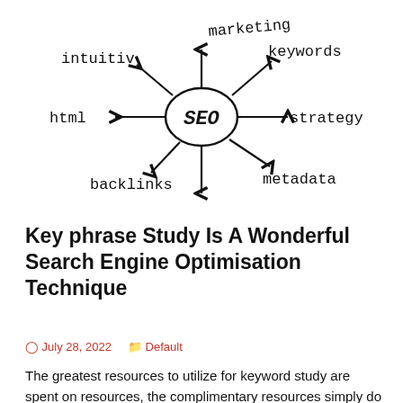[Figure (illustration): Hand-drawn mind map with 'SEO' in the center circle, with arrows pointing to and from labeled concepts: 'marketing' (upper center), 'keywords' (upper right), 'strategy' (right), 'metadata' (lower right), 'backlinks' (lower left), 'html' (left), 'intuitiv' (upper left), and a downward arrow at the bottom.]
Key phrase Study Is A Wonderful Search Engine Optimisation Technique
July 28, 2022    Default
The greatest resources to utilize for keyword study are spent on resources, the complimentary resources simply do not possess the attributes. Make use of key words